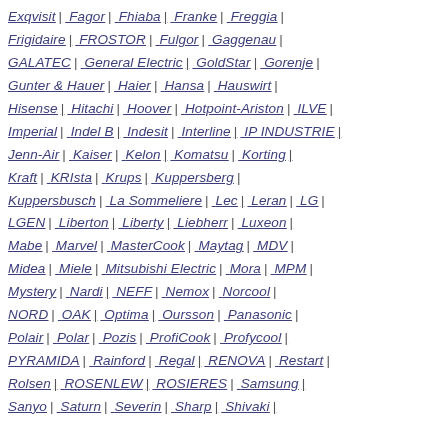Exqvisit | Fagor | Fhiaba | Franke | Freggia | Frigidaire | FROSTOR | Fulgor | Gaggenau | GALATEC | General Electric | GoldStar | Gorenje | Gunter & Hauer | Haier | Hansa | Hauswirt | Hisense | Hitachi | Hoover | Hotpoint-Ariston | ILVE | Imperial | Indel B | Indesit | Interline | IP INDUSTRIE | Jenn-Air | Kaiser | Kelon | Komatsu | Korting | Kraft | KRIsta | Krups | Kuppersberg | Kuppersbusch | La Sommeliere | Lec | Leran | LG | LGEN | Liberton | Liberty | Liebherr | Luxeon | Mabe | Marvel | MasterCook | Maytag | MDV | Midea | Miele | Mitsubishi Electric | Mora | MPM | Mystery | Nardi | NEFF | Nemox | Norcool | NORD | OAK | Optima | Oursson | Panasonic | Polair | Polar | Pozis | ProfiCook | Profycool | PYRAMIDA | Rainford | Regal | RENOVA | Restart | Rolsen | ROSENLEW | ROSIERES | Samsung | Sanyo | Saturn | Severin | Sharp | Shivaki |